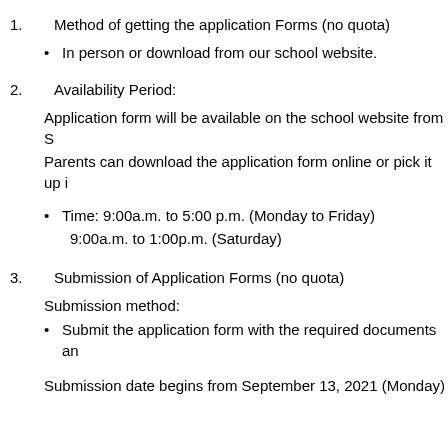1. Method of getting the application Forms (no quota)
• In person or download from our school website.
2. Availability Period:
Application form will be available on the school website from S…
Parents can download the application form online or pick it up i…
• Time: 9:00a.m. to 5:00 p.m. (Monday to Friday)
9:00a.m. to 1:00p.m. (Saturday)
3. Submission of Application Forms (no quota)
Submission method:
• Submit the application form with the required documents an…
Submission date begins from September 13, 2021 (Monday)